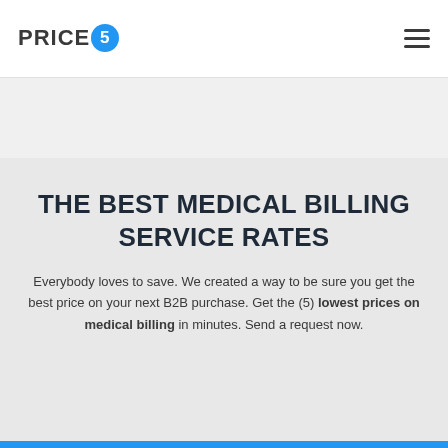[Figure (logo): PRICE5 logo with blue circle containing the number 5]
THE BEST MEDICAL BILLING SERVICE RATES
Everybody loves to save. We created a way to be sure you get the best price on your next B2B purchase. Get the (5) lowest prices on medical billing in minutes. Send a request now.